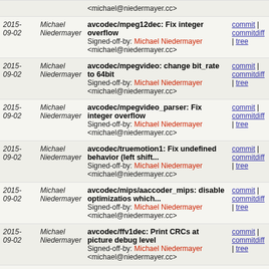| Date | Author | Commit message | Links |
| --- | --- | --- | --- |
|  |  | <michael@niedermayer.cc> |  |
| 2015-
09-02 | Michael Niedermayer | avcodec/mpeg12dec: Fix integer overflow
Signed-off-by: Michael Niedermayer <michael@niedermayer.cc> | commit | commitdiff | tree |
| 2015-
09-02 | Michael Niedermayer | avcodec/mpegvideo: change bit_rate to 64bit
Signed-off-by: Michael Niedermayer <michael@niedermayer.cc> | commit | commitdiff | tree |
| 2015-
09-02 | Michael Niedermayer | avcodec/mpegvideo_parser: Fix integer overflow
Signed-off-by: Michael Niedermayer <michael@niedermayer.cc> | commit | commitdiff | tree |
| 2015-
09-02 | Michael Niedermayer | avcodec/truemotion1: Fix undefined behavior (left shift...
Signed-off-by: Michael Niedermayer <michael@niedermayer.cc> | commit | commitdiff | tree |
| 2015-
09-02 | Michael Niedermayer | avcodec/mips/aaccoder_mips: disable optimizatios which...
Signed-off-by: Michael Niedermayer <michael@niedermayer.cc> | commit | commitdiff | tree |
| 2015-
09-02 | Michael Niedermayer | avcodec/ffv1dec: Print CRCs at picture debug level
Signed-off-by: Michael Niedermayer <michael@niedermayer.cc> | commit | commitdiff | tree |
| 2015-
09-02 | Michael Niedermayer | avcodec/ffv1dec: Check that there is enough space for...
Signed-off-by: Michael Niedermayer | commit | commitdiff | tree |